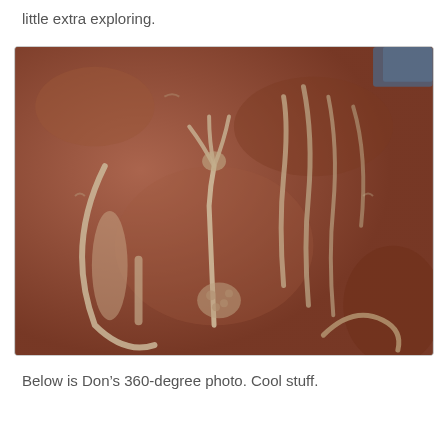little extra exploring.
[Figure (photo): Close-up photograph of ancient petroglyphs or rock carvings on a reddish-brown stone surface, showing carved figures including what appears to be a bird or deer-like creature with raised appendages.]
Below is Don’s 360-degree photo. Cool stuff.